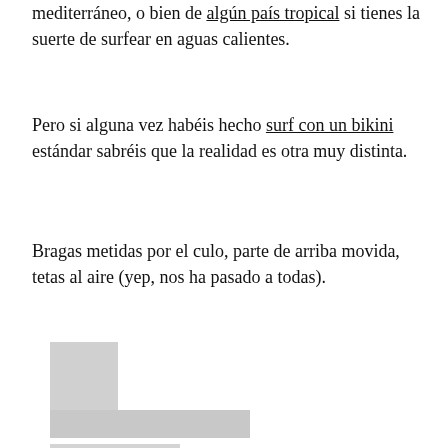mediterráneo, o bien de algún país tropical si tienes la suerte de surfear en aguas calientes.
Pero si alguna vez habéis hecho surf con un bikini estándar sabréis que la realidad es otra muy distinta.
Bragas metidas por el culo, parte de arriba movida, tetas al aire (yep, nos ha pasado a todas).
[Figure (other): Redacted or blurred image placeholder shown as gray rectangular blocks in an L-shape]